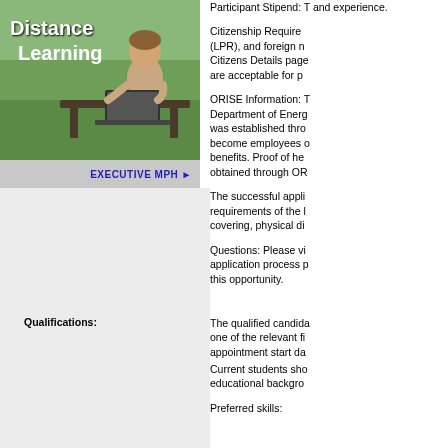[Figure (photo): Photo of a person using a laptop on a bench outdoors, with 'Distance Learning' text overlay]
EXECUTIVE MPH ▶
Participant Stipend: T and experience.
Citizenship Require (LPR), and foreign n Citizens Details page are acceptable for p
ORISE Information: T Department of Energ was established thro become employees o benefits. Proof of he obtained through OR
The successful appli requirements of the l covering, physical di
Questions: Please vi application process p this opportunity.
Qualifications:
The qualified candida one of the relevant fi appointment start da
Current students sho educational backgro
Preferred skills: